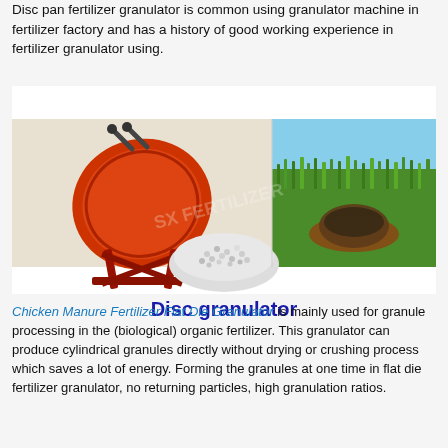Disc pan fertilizer granulator is common using granulator machine in fertilizer factory and has a history of good working experience in fertilizer granulator using.
[Figure (photo): Composite image showing a red disc pan granulator machine on the left, a bowl of white fertilizer granules in the center bottom, and hands holding dark soil/granules with green grass field in the background on the right. Text overlay reads 'Disc granulator' in bold dark blue.]
Chicken Manure Fertilizer Flat Die Granulator is mainly used for granule processing in the (biological) organic fertilizer. This granulator can produce cylindrical granules directly without drying or crushing process which saves a lot of energy. Forming the granules at one time in flat die fertilizer granulator, no returning particles, high granulation ratios.